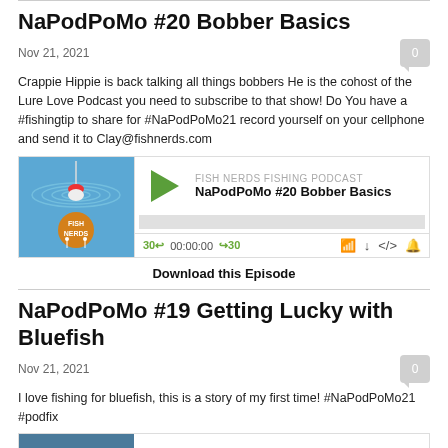NaPodPoMo #20 Bobber Basics
Nov 21, 2021
Crappie Hippie is back talking all things bobbers He is the cohost of the Lure Love Podcast you need to subscribe to that show! Do You have a #fishingtip to share for #NaPodPoMo21 record yourself on your cellphone and send it to Clay@fishnerds.com
[Figure (screenshot): Podcast audio player widget showing Fish Nerds Fishing Podcast episode 'NaPodPoMo #20 Bobber Basics' with play button, progress bar, skip controls (30 back, 00:00:00, 30 forward), and icons for RSS, download, embed, and headphones.]
Download this Episode
NaPodPoMo #19 Getting Lucky with Bluefish
Nov 21, 2021
I love fishing for bluefish, this is a story of my first time! #NaPodPoMo21 #podfix